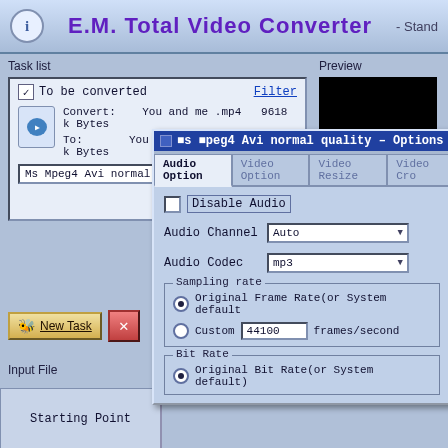E.M. Total Video Converter
Task list
To be converted    Filter
Convert:   You and me .mp4   9618 k Bytes
To:        You and me (4).avi   12548 k Bytes
Ms Mpeg4 Avi normal quality   Settings
Preview
Ms Mpeg4 Avi normal quality - Options
Audio Option | Video Option | Video Resize | Video Crop
Disable Audio
Audio Channel   Auto
Audio Codec   mp3
Sampling rate
Original Frame Rate (or System default
Custom   44100   frames/second
Bit Rate
Original Bit Rate (or System default)
New Task
Input File
Starting Point